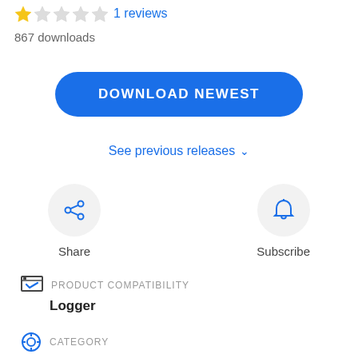[Figure (infographic): Star rating: 1 filled gold star followed by 4 grey stars, with '1 reviews' link in blue]
867 downloads
DOWNLOAD NEWEST
See previous releases ∨
[Figure (infographic): Share icon (circular share symbol) inside a grey circle, labeled 'Share']
[Figure (infographic): Subscribe icon (bell symbol) inside a grey circle, labeled 'Subscribe']
PRODUCT COMPATIBILITY
Logger
CATEGORY
ArcSight | ArcSight Logger